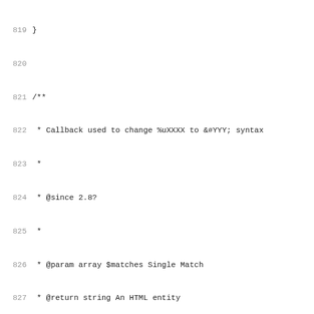Source code listing lines 819-851, PHP functions funky_javascript_callback and funky_javascript_fix
819 }
820
821 /**
822  * Callback used to change %uXXXX to &#YYY; syntax
823  *
824  * @since 2.8?
825  *
826  * @param array $matches Single Match
827  * @return string An HTML entity
828  */
829 function funky_javascript_callback($matches) {
830         return "&#".base_convert($matches[1],16,10).";";
831 }
832
833 /**
834  * Fixes javascript bugs in browsers.
835  *
836  * Converts unicode characters to HTML numbered entitie
837  *
838  * @since 1.5.0
839  * @uses $is_macIE
840  * @uses $is_winIE
841  *
842  * @param string $text Text to be made safe.
843  * @return string Fixed text.
844  */
845 function funky_javascript_fix($text) {
846         // Fixes for browsers' javascript bugs
847         global $is_macIE, $is_winIE;
848
849         if ( $is_winIE || $is_macIE )
850                 $text =  preg_replace_callback("/\%u([0
851                 "funky_